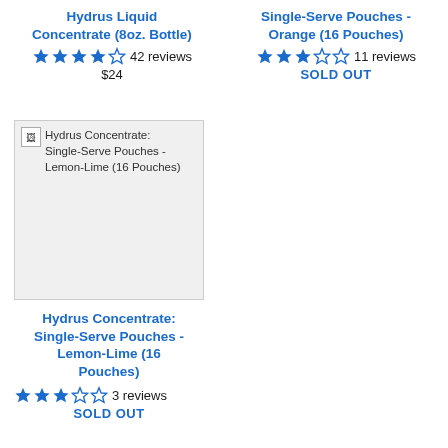Hydrus Liquid Concentrate (8oz. Bottle)
42 reviews
$24
Single-Serve Pouches - Orange (16 Pouches)
11 reviews
SOLD OUT
[Figure (photo): Broken image placeholder for Hydrus Concentrate: Single-Serve Pouches - Lemon-Lime (16 Pouches)]
Hydrus Concentrate: Single-Serve Pouches - Lemon-Lime (16 Pouches)
3 reviews
SOLD OUT